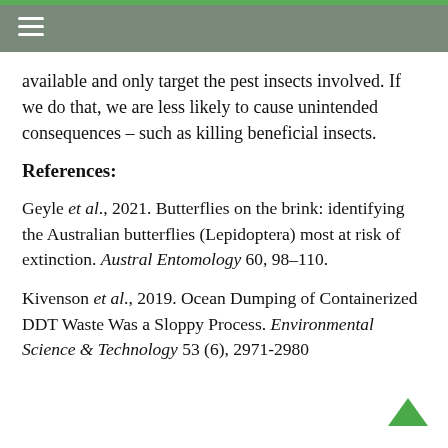available and only target the pest insects involved. If we do that, we are less likely to cause unintended consequences – such as killing beneficial insects.
References:
Geyle et al., 2021. Butterflies on the brink: identifying the Australian butterflies (Lepidoptera) most at risk of extinction. Austral Entomology 60, 98–110.
Kivenson et al., 2019. Ocean Dumping of Containerized DDT Waste Was a Sloppy Process. Environmental Science & Technology 53 (6), 2971-2980